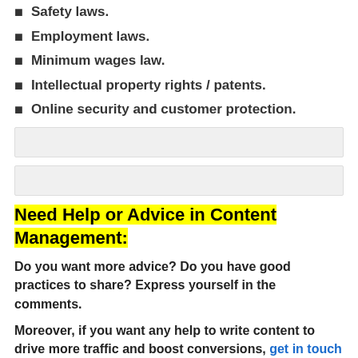Safety laws.
Employment laws.
Minimum wages law.
Intellectual property rights / patents.
Online security and customer protection.
Need Help or Advice in Content Management:
Do you want more advice? Do you have good practices to share? Express yourself in the comments.
Moreover, if you want any help to write content to drive more traffic and boost conversions, get in touch